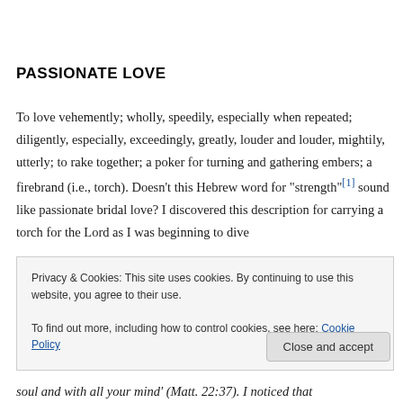PASSIONATE LOVE
To love vehemently; wholly, speedily, especially when repeated; diligently, especially, exceedingly, greatly, louder and louder, mightily, utterly; to rake together; a poker for turning and gathering embers; a firebrand (i.e., torch). Doesn’t this Hebrew word for “strength”[1] sound like passionate bridal love? I discovered this description for carrying a torch for the Lord as I was beginning to dive
soul and with all your mind’ (Matt. 22:37). I noticed that
Privacy & Cookies: This site uses cookies. By continuing to use this website, you agree to their use.
To find out more, including how to control cookies, see here: Cookie Policy